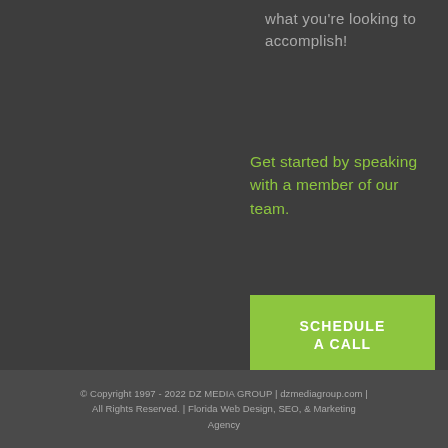what you're looking to accomplish!
Get started by speaking with a member of our team.
SCHEDULE A CALL
© Copyright 1997 - 2022 DZ MEDIA GROUP | dzmediagroup.com | All Rights Reserved. | Florida Web Design, SEO, & Marketing Agency